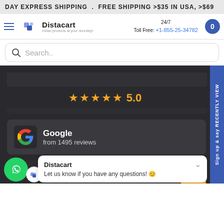DAY EXPRESS SHIPPING . FREE SHIPPING >$35 IN USA, >$69
[Figure (logo): Distacart logo with hamburger menu, toll-free number 24/7 +1-855-25-34782, and cart button]
Search..
[Figure (infographic): Dark background section showing 5-star rating 5.0 from Google, from 1495 reviews, and partial star rating 4.3 at bottom]
Google
from 1495 reviews
Distacart
Let us know if you have any questions! 😊